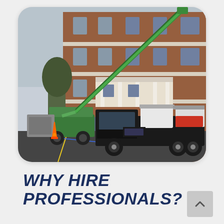[Figure (photo): A green boom lift / cherry picker crane extended up toward a large multi-story brick building with white balconies and columns. A black flatbed service truck with equipment tanks is parked in the foreground in a parking lot. An orange traffic cone is visible on the left side.]
WHY HIRE PROFESSIONALS?